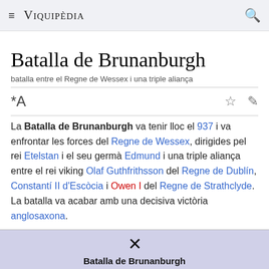≡ VIQUIPÈDIA 🔍
Batalla de Brunanburgh
batalla entre el Regne de Wessex i una triple aliança
La Batalla de Brunanburgh va tenir lloc el 937 i va enfrontar les forces del Regne de Wessex, dirigides pel rei Etelstan i el seu germà Edmund i una triple aliança entre el rei viking Olaf Guthfrithsson del Regne de Dublín, Constantí II d'Escòcia i Owen I del Regne de Strathclyde. La batalla va acabar amb una decisiva victòria anglosaxona.
[Figure (infographic): Infobox panel with purple background showing a cross symbol and the title 'Batalla de Brunanburgh']